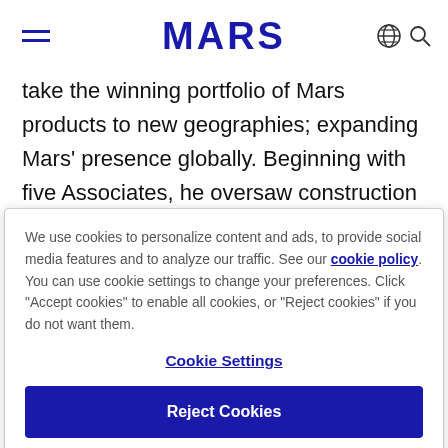MARS (navigation bar with hamburger menu, globe icon, search icon)
take the winning portfolio of Mars products to new geographies; expanding Mars' presence globally. Beginning with five Associates, he oversaw construction of what is now one of the largest chocolate factories in the world. He managed the
We use cookies to personalize content and ads, to provide social media features and to analyze our traffic. See our cookie policy. You can use cookie settings to change your preferences. Click "Accept cookies" to enable all cookies, or "Reject cookies" if you do not want them.
Cookie Settings
Reject Cookies